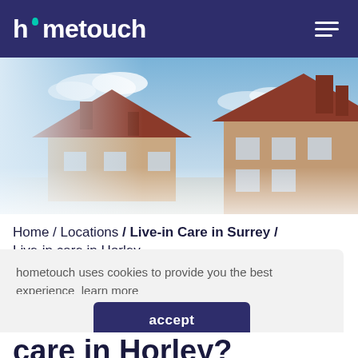hometouch [navigation bar with hamburger menu]
[Figure (photo): Hero image of a traditional English brick house with red tile roof, white-framed windows, and a blue sky with light clouds in the background. Image is slightly faded/washed out on the left side.]
Home / Locations / Live-in Care in Surrey / Live-in care in Horley
hometouch uses cookies to provide you the best experience  learn more
accept
care in Horley?